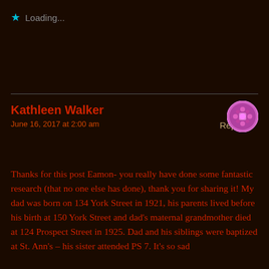Loading...
Reply
Kathleen Walker
June 16, 2017 at 2:00 am
Thanks for this post Eamon- you really have done some fantastic research (that no one else has done), thank you for sharing it! My dad was born on 134 York Street in 1921, his parents lived before his birth at 150 York Street and dad's maternal grandmother died at 124 Prospect Street in 1925. Dad and his siblings were baptized at St. Ann's – his sister attended PS 7. It's so sad